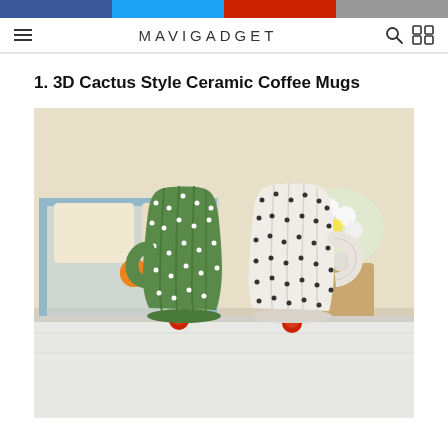MAVIGADGET
1. 3D Cactus Style Ceramic Coffee Mugs
[Figure (photo): Two 3D cactus style ceramic coffee mugs on a white surface. Left mug is green with white dot spines and cactus-shaped handle; right mug is white with black dot spines and cactus-shaped handle. Both have small red round decorations at base. Background shows white sofa, flowers, and decorative items.]